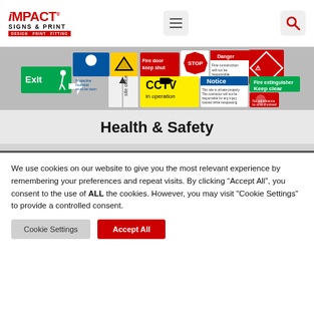Impact Signs & Print — DESIGN PRINT FITTING
[Figure (photo): Collage of health and safety signs including Exit sign, CCTV in operation, Fire door keep shut, Notice, Stop, Fire extinguisher Keep clear, and hazard diamond sign]
Health & Safety
We use cookies on our website to give you the most relevant experience by remembering your preferences and repeat visits. By clicking “Accept All”, you consent to the use of ALL the cookies. However, you may visit "Cookie Settings" to provide a controlled consent.
Cookie Settings | Accept All